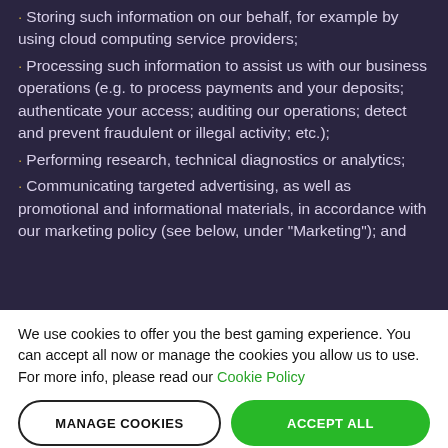Storing such information on our behalf, for example by using cloud computing service providers;
Processing such information to assist us with our business operations (e.g. to process payments and your deposits; authenticate your access; auditing our operations; detect and prevent fraudulent or illegal activity; etc.);
Performing research, technical diagnostics or analytics;
Communicating targeted advertising, as well as promotional and informational materials, in accordance with our marketing policy (see below, under "Marketing"); and
We use cookies to offer you the best gaming experience. You can accept all now or manage the cookies you allow us to use. For more info, please read our Cookie Policy